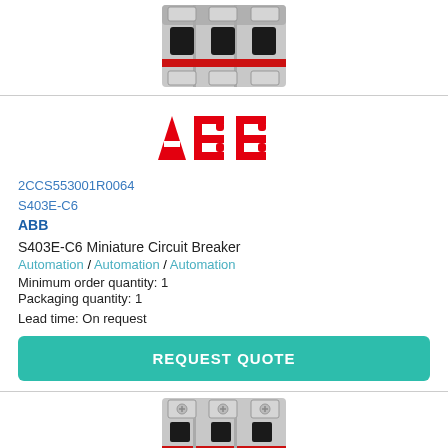[Figure (photo): Top portion of a miniature circuit breaker (MCB) product image, gray with red stripe and black handle, cropped at top]
[Figure (logo): ABB company logo in red bold letters]
2CCS553001R0064
S403E-C6
ABB
S403E-C6 Miniature Circuit Breaker
Automation / Automation / Automation
Minimum order quantity: 1
Packaging quantity: 1
Lead time: On request
REQUEST QUOTE
[Figure (photo): Bottom portion of a miniature circuit breaker product image, gray with red stripe and black handles, top view]